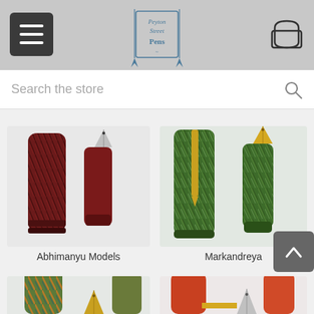Peyton Street Pens — navigation header with menu, logo, cart
Search the store
[Figure (photo): Two dark red/maroon marbled fountain pens — cap and barrel with silver nib]
Abhimanyu Models
[Figure (photo): Two green marbled fountain pens with gold nib and gold clip]
Markandreyа
[Figure (photo): Two orange/teal marbled fountain pens with gold nib — partially cropped]
[Figure (photo): Two orange/red fountain pens with silver nib — partially cropped]